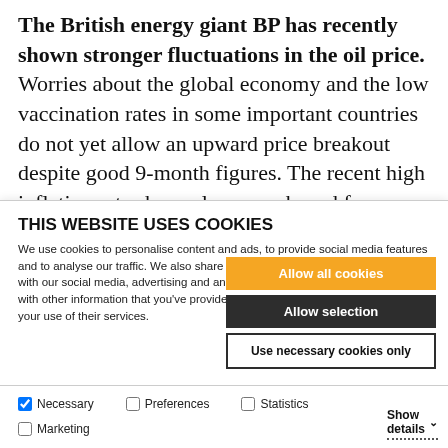The British energy giant BP has recently shown stronger fluctuations in the oil price. Worries about the global economy and the low vaccination rates in some important countries do not yet allow an upward price breakout despite good 9-month figures. The recent high inflation rates have also reawakened fears about interest
THIS WEBSITE USES COOKIES
We use cookies to personalise content and ads, to provide social media features and to analyse our traffic. We also share information about your use of our site with our social media, advertising and analytics partners who may combine it with other information that you've provided to them or that they've collected from your use of their services.
Allow all cookies
Allow selection
Use necessary cookies only
Necessary | Preferences | Statistics | Show details | Marketing